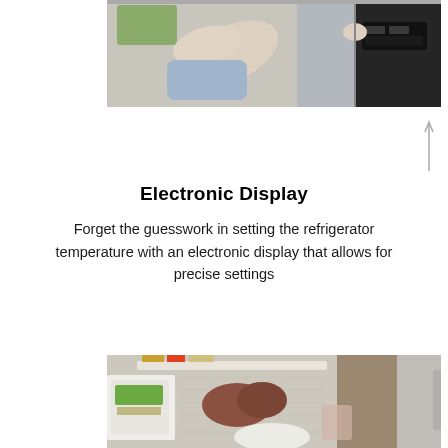[Figure (photo): Person pressing buttons on the electronic display panel of a stainless steel refrigerator, partial top view]
Electronic Display
Forget the guesswork in setting the refrigerator temperature with an electronic display that allows for precise settings
[Figure (photo): Open refrigerator freezer drawer showing wire basket with frozen foods, white bins, and stainless steel door edge]